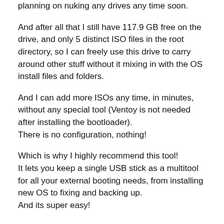planning on nuking any drives any time soon.
And after all that I still have 117.9 GB free on the drive, and only 5 distinct ISO files in the root directory, so I can freely use this drive to carry around other stuff without it mixing in with the OS install files and folders.
And I can add more ISOs any time, in minutes, without any special tool (Ventoy is not needed after installing the bootloader).
There is no configuration, nothing!
Which is why I highly recommend this tool!
It lets you keep a single USB stick as a multitool for all your external booting needs, from installing new OS to fixing and backing up.
And its super easy!